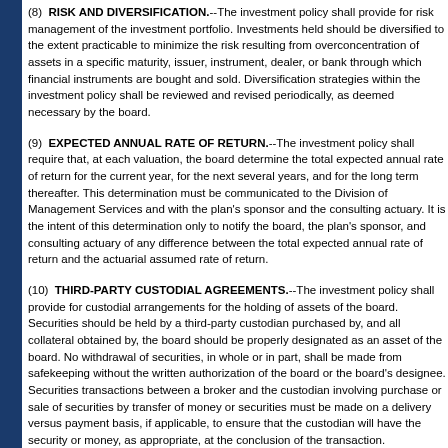(8)  RISK AND DIVERSIFICATION.--The investment policy shall provide for risk management of the investment portfolio. Investments held should be diversified to the extent practicable to minimize the risk resulting from overconcentration of assets in a specific maturity, issuer, instrument, dealer, or bank through which financial instruments are bought and sold. Diversification strategies within the investment policy shall be reviewed and revised periodically, as deemed necessary by the board.
(9)  EXPECTED ANNUAL RATE OF RETURN.--The investment policy shall require that, at each valuation, the board determine the total expected annual rate of return for the current year, for the next several years, and for the long term thereafter. This determination must be communicated to the Division of Management Services and with the plan's sponsor and the consulting actuary. It is the intent of this determination only to notify the board, the plan's sponsor, and consulting actuary of any difference between the total expected annual rate of return and the actuarial assumed rate of return.
(10)  THIRD-PARTY CUSTODIAL AGREEMENTS.--The investment policy shall provide for custodial arrangements for the holding of assets of the board. Securities should be held by a third-party custodian purchased by, and all collateral obtained by, the board should be properly designated as an asset of the board. No withdrawal of securities, in whole or in part, shall be made from safekeeping without the written authorization of the board or the board's designee. Securities transactions between a broker and the custodian involving purchase or sale of securities by transfer of money or securities must be made on a delivery versus payment basis, if applicable, to ensure that the custodian will have the security or money, as appropriate, at the conclusion of the transaction.
(11)  MASTER REPURCHASE AGREEMENT.--The investment policy shall require all approved dealers transacting repurchase agreements to execute and perform as...